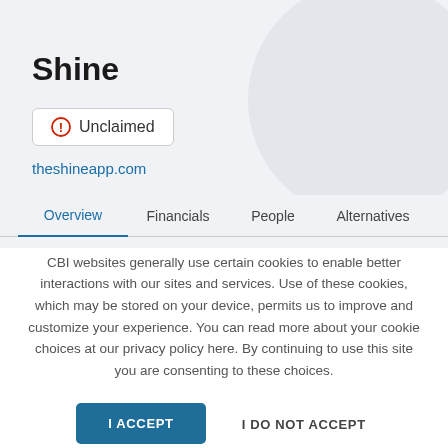Shine
Unclaimed
theshineapp.com
Overview
Financials
People
Alternatives
CBI websites generally use certain cookies to enable better interactions with our sites and services. Use of these cookies, which may be stored on your device, permits us to improve and customize your experience. You can read more about your cookie choices at our privacy policy here. By continuing to use this site you are consenting to these choices.
I ACCEPT
I DO NOT ACCEPT